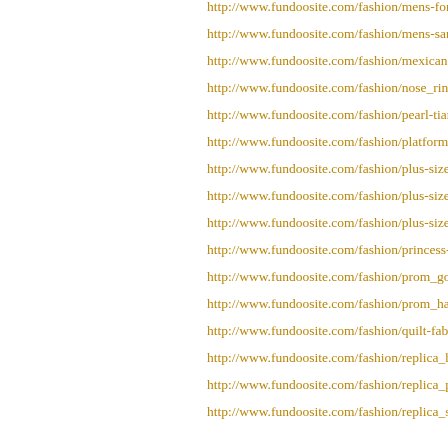http://www.fundoosite.com/fashion/mens-form-
http://www.fundoosite.com/fashion/mens-sand-
http://www.fundoosite.com/fashion/mexican-p-
http://www.fundoosite.com/fashion/nose_rings-
http://www.fundoosite.com/fashion/pearl-tiara-
http://www.fundoosite.com/fashion/platform-s-
http://www.fundoosite.com/fashion/plus-size-c-
http://www.fundoosite.com/fashion/plus-size-f-
http://www.fundoosite.com/fashion/plus-size-n-
http://www.fundoosite.com/fashion/princess-c-
http://www.fundoosite.com/fashion/prom_gow-
http://www.fundoosite.com/fashion/prom_hair-
http://www.fundoosite.com/fashion/quilt-fabri-
http://www.fundoosite.com/fashion/replica_ha-
http://www.fundoosite.com/fashion/replica_pu-
http://www.fundoosite.com/fashion/replica_su-